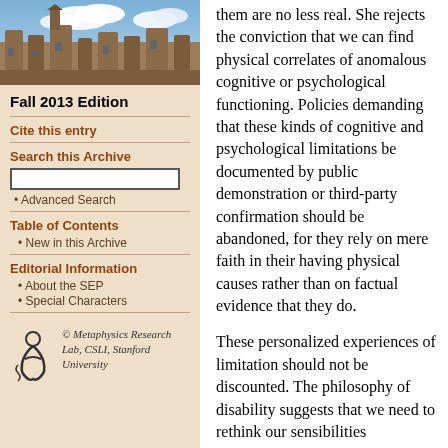[Figure (photo): Photograph of a historic university building (stone architecture) with blue sky and clouds]
Fall 2013 Edition
Cite this entry
Search this Archive
Advanced Search
Table of Contents
New in this Archive
Editorial Information
About the SEP
Special Characters
[Figure (logo): Metaphysics Research Lab, CSLI, Stanford University logo with stylized figure]
them are no less real. She rejects the conviction that we can find physical correlates of anomalous cognitive or psychological functioning. Policies demanding that these kinds of cognitive and psychological limitations be documented by public demonstration or third-party confirmation should be abandoned, for they rely on mere faith in their having physical causes rather than on factual evidence that they do.
These personalized experiences of limitation should not be discounted. The philosophy of disability suggests that we need to rethink our sensibilities